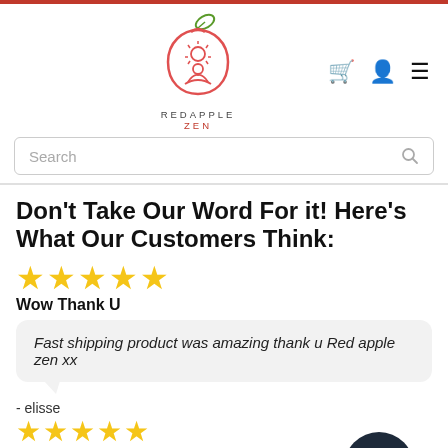[Figure (logo): Red Apple Zen logo: red apple outline with meditating figure inside, green leaf on top, text REDAPPLE ZEN below]
Don't Take Our Word For it! Here's What Our Customers Think:
★★★★★
Wow Thank U
Fast shipping product was amazing thank u Red apple zen xx
- elisse
★★★★★
Loved It
Thank u Red apple zen enjoying my baths even more thanks